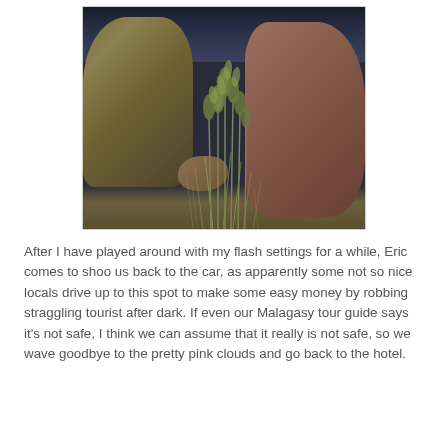[Figure (photo): Outdoor nighttime photo of large boulders with green plant/grass growing between them against a dark stormy sky]
After I have played around with my flash settings for a while, Eric comes to shoo us back to the car, as apparently some not so nice locals drive up to this spot to make some easy money by robbing straggling tourist after dark. If even our Malagasy tour guide says it's not safe, I think we can assume that it really is not safe, so we wave goodbye to the pretty pink clouds and go back to the hotel.